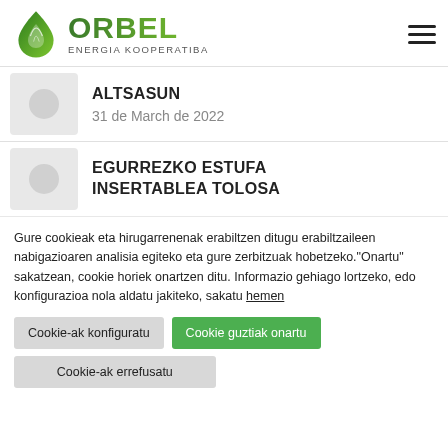[Figure (logo): Orbel Energia Kooperatiba logo with green leaf/drop icon and gradient text]
ALTSASUN
31 de March de 2022
EGURREZKO ESTUFA INSERTABLEA TOLOSA
Gure cookieak eta hirugarrenenak erabiltzen ditugu erabiltzaileen nabigazioaren analisia egiteko eta gure zerbitzuak hobetzeko."Onartu" sakatzean, cookie horiek onartzen ditu. Informazio gehiago lortzeko, edo konfigurazioa nola aldatu jakiteko, sakatu hemen
Cookie-ak konfiguratu
Cookie guztiak onartu
Cookie-ak errefusatu